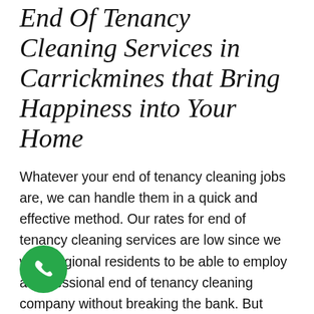End Of Tenancy Cleaning Services in Carrickmines that Bring Happiness into Your Home
Whatever your end of tenancy cleaning jobs are, we can handle them in a quick and effective method. Our rates for end of tenancy cleaning services are low since we want regional residents to be able to employ a professional end of tenancy cleaning company without breaking the bank. But even if our prices are inexpensive, it does not indicate you will get a poor quality cleaning service. We ensure that you'll be amazed by the quality of our Carrickmines cleaning services. Unlike other
[Figure (other): Green circular phone/call button icon in the bottom left area of the page]